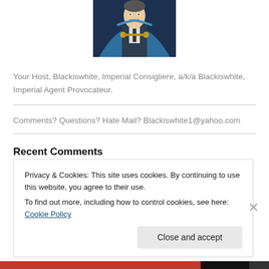[Figure (illustration): Comic book style illustration of a man in a blue cape/cloak with gold clasps, wearing a suit and tie, smiling]
Your Host, Blackiswhite, Imperial Consigliere, a/k/a Blackiswhite, Imperial Agent Provocateur.
Comments? Questions? Hate Mail? Blackiswhite1@yahoo.com
Recent Comments
Privacy & Cookies: This site uses cookies. By continuing to use this website, you agree to their use.
To find out more, including how to control cookies, see here: Cookie Policy